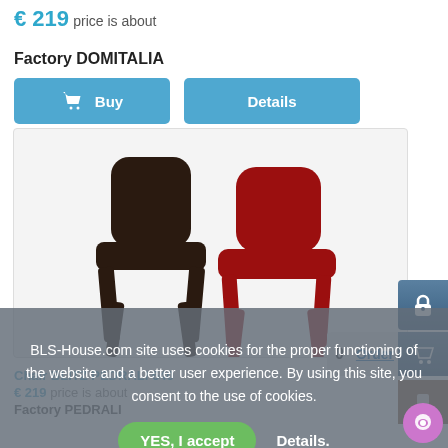€ 219 price is about
Factory DOMITALIA
[Figure (screenshot): Two buttons: 'Buy' (with shopping basket icon) and 'Details', both in blue]
[Figure (photo): Product photo showing two modern plastic chairs — one dark brown/black and one red — styled as BLITZ chairs]
Chair BLITZ PEDRALI 640
€ 219 price is about
Factory PEDRALI
BLS-House.com site uses cookies for the proper functioning of the website and a better user experience. By using this site, you consent to the use of cookies.
YES, I accept
Details.